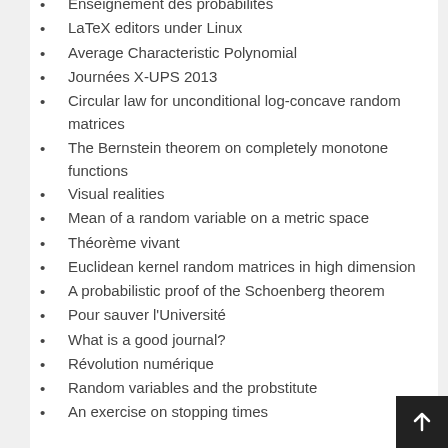Enseignement des probabilités
LaTeX editors under Linux
Average Characteristic Polynomial
Journées X-UPS 2013
Circular law for unconditional log-concave random matrices
The Bernstein theorem on completely monotone functions
Visual realities
Mean of a random variable on a metric space
Théorème vivant
Euclidean kernel random matrices in high dimension
A probabilistic proof of the Schoenberg theorem
Pour sauver l'Université
What is a good journal?
Révolution numérique
Random variables and the probstitute
An exercise on stopping times